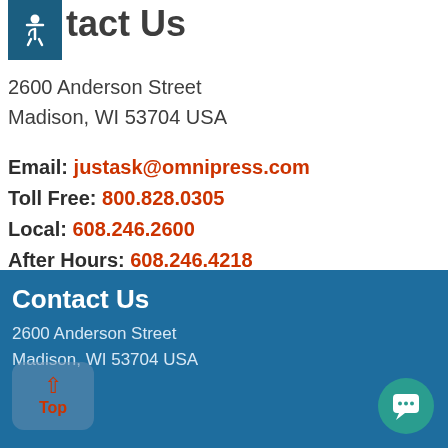Contact Us
2600 Anderson Street
Madison, WI 53704 USA
Email: justask@omnipress.com
Toll Free: 800.828.0305
Local: 608.246.2600
After Hours: 608.246.4218
Contact Us
2600 Anderson Street
Madison, WI 53704 USA